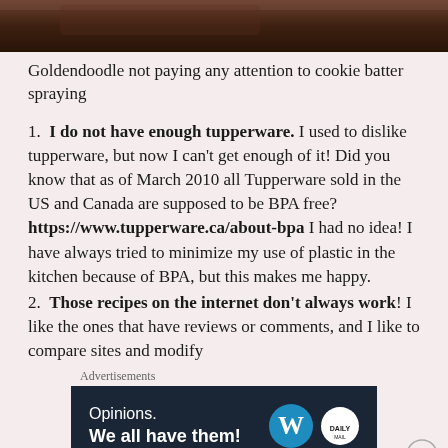[Figure (photo): Dark brown photo strip at top of page, partial image of a Goldendoodle dog]
Goldendoodle not paying any attention to cookie batter spraying
1. I do not have enough tupperware. I used to dislike tupperware, but now I can't get enough of it! Did you know that as of March 2010 all Tupperware sold in the US and Canada are supposed to be BPA free? https://www.tupperware.ca/about-bpa I had no idea! I have always tried to minimize my use of plastic in the kitchen because of BPA, but this makes me happy.
2. Those recipes on the internet don't always work! I like the ones that have reviews or comments, and I like to compare sites and modify
Advertisements
[Figure (screenshot): WordPress advertisement banner: Opinions. We all have them! with WordPress and Daily Mail logos on dark navy background]